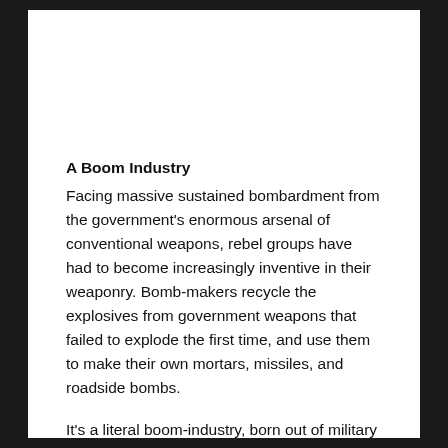A Boom Industry
Facing massive sustained bombardment from the government's enormous arsenal of conventional weapons, rebel groups have had to become increasingly inventive in their weaponry. Bomb-makers recycle the explosives from government weapons that failed to explode the first time, and use them to make their own mortars, missiles, and roadside bombs.
It's a literal boom-industry, born out of military necessity.
However, the steady escalation in the explosive force at the disposal of opposition fighters certainly serves